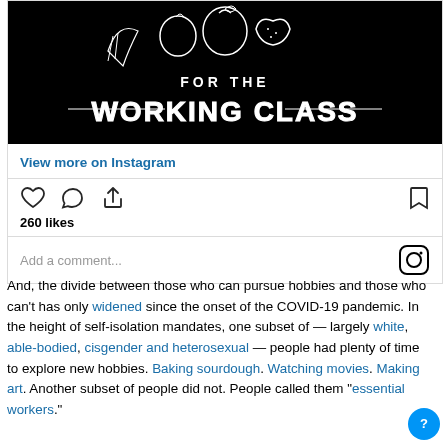[Figure (illustration): Black and white illustration on black background showing food items and text reading FOR THE WORKING CLASS in large stylized grunge lettering]
View more on Instagram
260 likes
Add a comment...
And, the divide between those who can pursue hobbies and those who can't has only widened since the onset of the COVID-19 pandemic. In the height of self-isolation mandates, one subset of — largely white, able-bodied, cisgender and heterosexual — people had plenty of time to explore new hobbies. Baking sourdough. Watching movies. Making art. Another subset of people did not. People called them "essential workers."